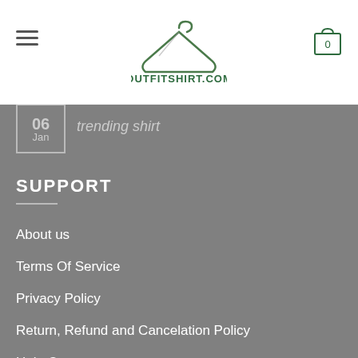OUTFITSHIRT.COM
06 Jan trending shirt
SUPPORT
About us
Terms Of Service
Privacy Policy
Return, Refund and Cancelation Policy
Help Center